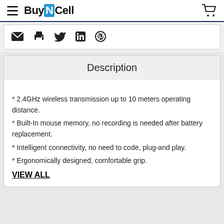BuyNCell
[Figure (screenshot): Social share icons: email, print, Twitter, LinkedIn, Pinterest]
Description
* 2.4GHz wireless transmission up to 10 meters operating distance.
* Built-In mouse memory, no recording is needed after battery replacement.
* Intelligent connectivity, no need to code, plug-and play.
* Ergonomically designed, comfortable grip.
VIEW ALL